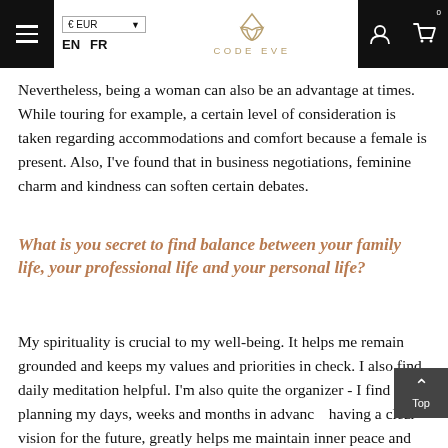€ EUR  EN  FR  CODE EVE
Nevertheless, being a woman can also be an advantage at times. While touring for example, a certain level of consideration is taken regarding accommodations and comfort because a female is present. Also, I've found that in business negotiations, feminine charm and kindness can soften certain debates.
What is you secret to find balance between your family life, your professional life and your personal life?
My spirituality is crucial to my well-being. It helps me remain grounded and keeps my values and priorities in check. I also find daily meditation helpful. I'm also quite the organizer - I find that planning my days, weeks and months in advance, having a clear vision for the future, greatly helps me maintain inner peace and keeps me from falling out of balance in the different areas of my life.